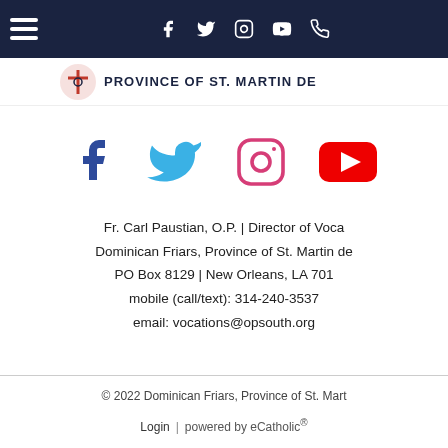Navigation bar with hamburger menu, Facebook, Twitter, Instagram, YouTube, Phone icons
[Figure (logo): Dominican Friars Province of St. Martin de logo with cross emblem]
[Figure (infographic): Social media icons row: Facebook (blue), Twitter (blue bird), Instagram (pink outline), YouTube (red)]
Fr. Carl Paustian, O.P. | Director of Vocations
Dominican Friars, Province of St. Martin de
PO Box 8129 | New Orleans, LA 701
mobile (call/text): 314-240-3537
email: vocations@opsouth.org
© 2022 Dominican Friars, Province of St. Mart
Login | powered by eCatholic®